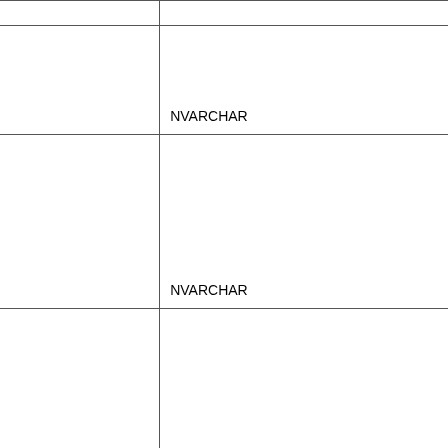| Column/Parameter | Nullable | Data Type |
| --- | --- | --- |
| LocatorValue | Y | NVARCHAR(...) |
| l_ErrorMsg | Y | NVARCHAR(...) |
| l_IsImported | Y | CHAR(1) |
| M_Inventory_ID | Y | VARCHAR(...) |
| M_Warehouse_ID | Y | VARCHAR(...) |
|  |  |  |